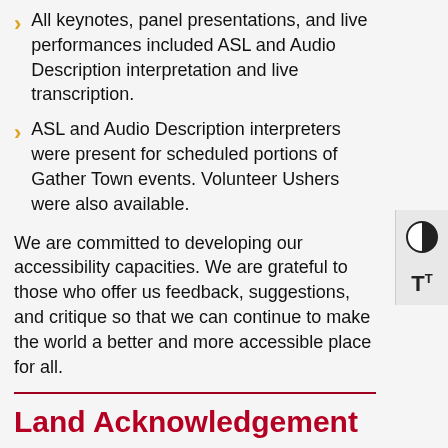All keynotes, panel presentations, and live performances included ASL and Audio Description interpretation and live transcription.
ASL and Audio Description interpreters were present for scheduled portions of Gather Town events. Volunteer Ushers were also available.
We are committed to developing our accessibility capacities. We are grateful to those who offer us feedback, suggestions, and critique so that we can continue to make the world a better and more accessible place for all.
Land Acknowledgement